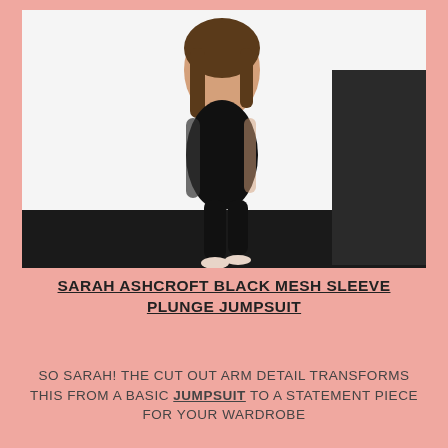[Figure (photo): A woman wearing a black mesh sleeve plunge jumpsuit with cutout arm detail, posing in front of a white wall, wearing light pink heels.]
SARAH ASHCROFT BLACK MESH SLEEVE PLUNGE JUMPSUIT
SO SARAH! THE CUT OUT ARM DETAIL TRANSFORMS THIS FROM A BASIC JUMPSUIT TO A STATEMENT PIECE FOR YOUR WARDROBE